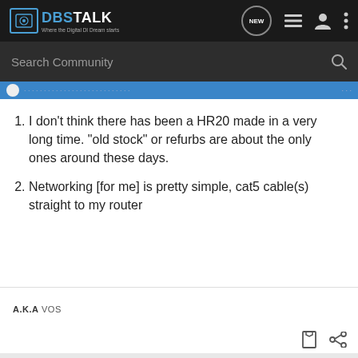DBSTALK — Where the Digital DI Dream starts — Search Community
I don't think there has been a HR20 made in a very long time. "old stock" or refurbs are about the only ones around these days.
Networking [for me] is pretty simple, cat5 cable(s) straight to my router
A.K.A VOS